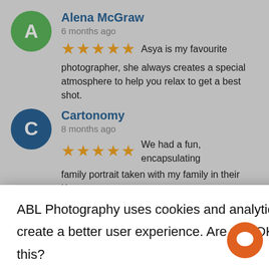Alena McGraw
6 months ago
★★★★★ Asya is my favourite photographer, she always creates a special atmosphere to help you relax to get a best shot.
Cartonomy
8 months ago
★★★★★ We had a fun, encapsulating family portrait taken with my family in their Karate g... [partially obscured] of attention fo... [partially obscured] Well done fo...
H
8 months ago
★ ...nwood D... s of our te... t with he a... er expe p... was ver patient, and took her time to ensure that everyone
ABL Photography uses cookies and analytics to create a better user experience. Are you OK with this?
Accept
info...